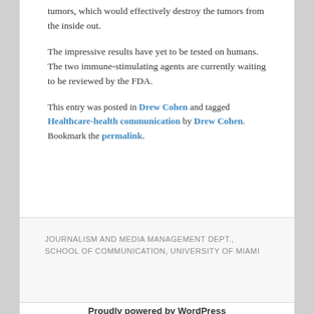tumors, which would effectively destroy the tumors from the inside out.
The impressive results have yet to be tested on humans. The two immune-stimulating agents are currently waiting to be reviewed by the FDA.
This entry was posted in Drew Cohen and tagged Healthcare-health communication by Drew Cohen. Bookmark the permalink.
JOURNALISM AND MEDIA MANAGEMENT DEPT., SCHOOL OF COMMUNICATION, UNIVERSITY OF MIAMI
Proudly powered by WordPress